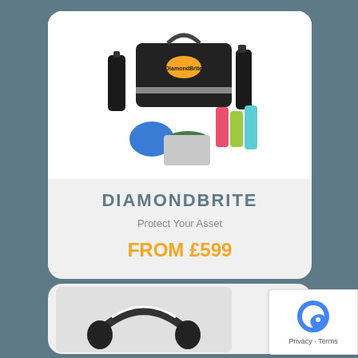[Figure (photo): Diamondbrite car care product kit with bag, bottles, sprays, microfibre cloths and wash mitt]
DIAMONDBRITE
Protect Your Asset
FROM £599
[Figure (photo): Headphones product image partially visible at bottom of page]
[Figure (other): Google reCAPTCHA badge with Privacy and Terms links]